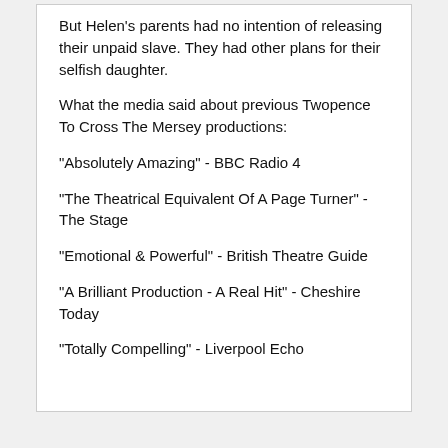But Helen's parents had no intention of releasing their unpaid slave. They had other plans for their selfish daughter.
What the media said about previous Twopence To Cross The Mersey productions:
"Absolutely Amazing" - BBC Radio 4
"The Theatrical Equivalent Of A Page Turner" - The Stage
"Emotional & Powerful" - British Theatre Guide
"A Brilliant Production - A Real Hit" - Cheshire Today
"Totally Compelling" - Liverpool Echo